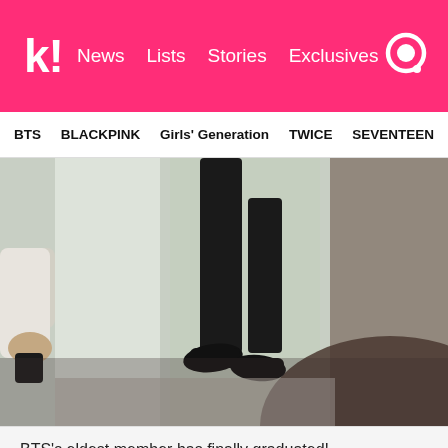k! News  Lists  Stories  Exclusives
BTS  BLACKPINK  Girls' Generation  TWICE  SEVENTEEN
[Figure (photo): Cropped photo showing lower body of a person in dark trousers and black shoes jumping or standing against a light green/white striped background. Another person's arm and hand visible on the left side.]
BTS's eldest member has finally graduated!